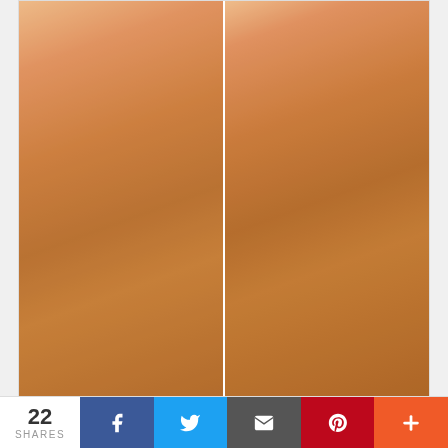[Figure (photo): Two-panel product photo of a woman wearing a peach/apricot halter bodycon dress with gold sequin skirt. Left panel shows full-length view, right panel shows torso/detail view.]
$44.00
ADD TO CART
Add to Wish List
Add to Compare
Mesh Bodycon Dress Women 2021 New Arrivals Lined Mini
22 SHARES